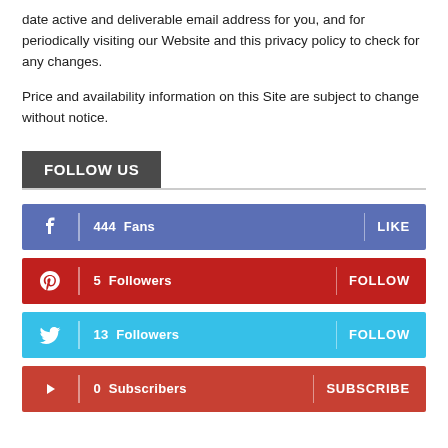date active and deliverable email address for you, and for periodically visiting our Website and this privacy policy to check for any changes.
Price and availability information on this Site are subject to change without notice.
FOLLOW US
444  Fans   LIKE  (Facebook)
5  Followers   FOLLOW  (Pinterest)
13  Followers   FOLLOW  (Twitter)
0  Subscribers   SUBSCRIBE  (YouTube)